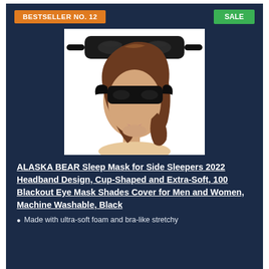BESTSELLER NO. 12
SALE
[Figure (photo): Product photo of ALASKA BEAR sleep mask — shows a black foam sleep mask with bra-like straps (headband design, cup-shaped), shown both as a standalone product image and worn by a woman with brown hair.]
ALASKA BEAR Sleep Mask for Side Sleepers 2022 Headband Design, Cup-Shaped and Extra-Soft, 100 Blackout Eye Mask Shades Cover for Men and Women, Machine Washable, Black
Made with ultra-soft foam and bra-like stretchy